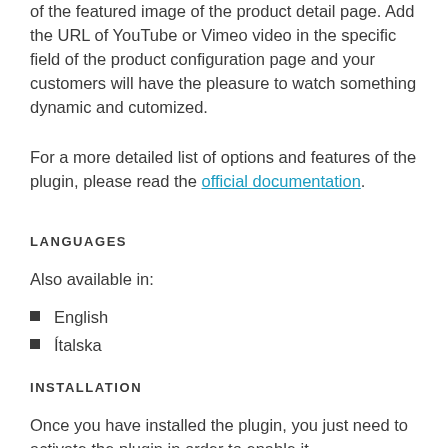of the featured image of the product detail page. Add the URL of YouTube or Vimeo video in the specific field of the product configuration page and your customers will have the pleasure to watch something dynamic and cutomized.
For a more detailed list of options and features of the plugin, please read the official documentation.
LANGUAGES
Also available in:
English
Ítalska
INSTALLATION
Once you have installed the plugin, you just need to activate the plugin in order to enable it.